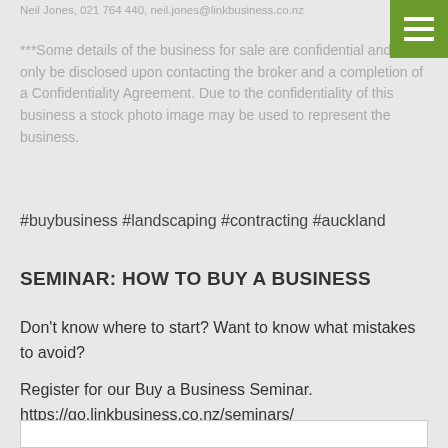Neil Jones, 021 764 440, neil.jones@linkbusiness.co.nz
***Some details of the business for sale are confidential and can only be disclosed upon contacting the broker and a completion of a Confidentiality Agreement. Due to the confidentiality of this business a stock photo image may be used to represent the business.
#buybusiness #landscaping #contracting #auckland
SEMINAR: HOW TO BUY A BUSINESS
Don’t know where to start? Want to know what mistakes to avoid?
Register for our Buy a Business Seminar.
https://go.linkbusiness.co.nz/seminars/